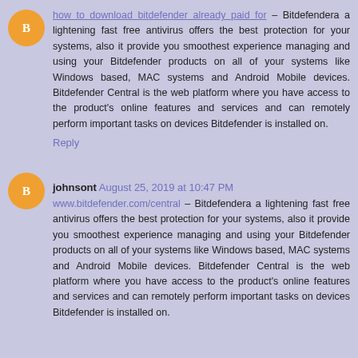how to download bitdefender already paid for – Bitdefendera a lightening fast free antivirus offers the best protection for your systems, also it provide you smoothest experience managing and using your Bitdefender products on all of your systems like Windows based, MAC systems and Android Mobile devices. Bitdefender Central is the web platform where you have access to the product's online features and services and can remotely perform important tasks on devices Bitdefender is installed on.
Reply
johnsont August 25, 2019 at 10:47 PM
www.bitdefender.com/central – Bitdefendera a lightening fast free antivirus offers the best protection for your systems, also it provide you smoothest experience managing and using your Bitdefender products on all of your systems like Windows based, MAC systems and Android Mobile devices. Bitdefender Central is the web platform where you have access to the product's online features and services and can remotely perform important tasks on devices Bitdefender is installed on.